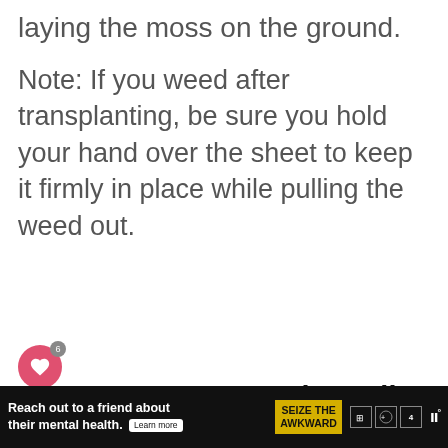laying the moss on the ground.
Note: If you weed after transplanting, be sure you hold your hand over the sheet to keep it firmly in place while pulling the weed out.
Step 2. Prep The Soil For Freshly Transplanted Moss
[Figure (photo): Photograph of bare soil/dirt ground, brownish in color. Overlaid with a 'What's Next' card featuring DIY Cinder Block Bench thumbnail.]
Reach out to a friend about their mental health. Learn more  SEIZE THE AWKWARD